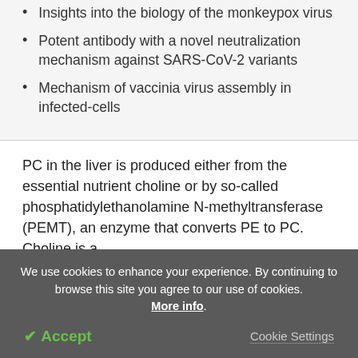Insights into the biology of the monkeypox virus
Potent antibody with a novel neutralization mechanism against SARS-CoV-2 variants
Mechanism of vaccinia virus assembly in infected-cells
PC in the liver is produced either from the essential nutrient choline or by so-called phosphatidylethanolamine N-methyltransferase (PEMT), an enzyme that converts PE to PC. Choline is a
We use cookies to enhance your experience. By continuing to browse this site you agree to our use of cookies. More info.
✔ Accept
Cookie Settings